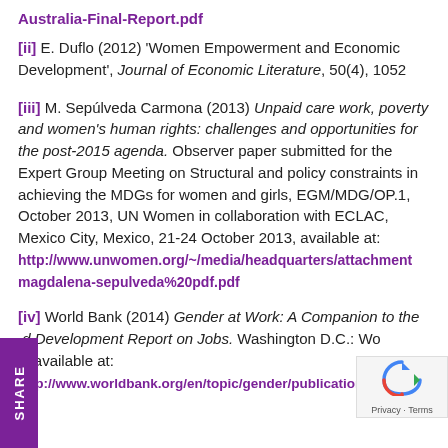Australia-Final-Report.pdf
[ii] E. Duflo (2012) 'Women Empowerment and Economic Development', Journal of Economic Literature, 50(4), 1052
[iii] M. Sepúlveda Carmona (2013) Unpaid care work, poverty and women's human rights: challenges and opportunities for the post-2015 agenda. Observer paper submitted for the Expert Group Meeting on Structural and policy constraints in achieving the MDGs for women and girls, EGM/MDG/OP.1, October 2013, UN Women in collaboration with ECLAC, Mexico City, Mexico, 21-24 October 2013, available at: http://www.unwomen.org/~/media/headquarters/attachments magdalena-sepulveda%20pdf.pdf
[iv] World Bank (2014) Gender at Work: A Companion to the World Development Report on Jobs. Washington D.C.: World Bank, available at: http://www.worldbank.org/en/topic/gender/publication/gen